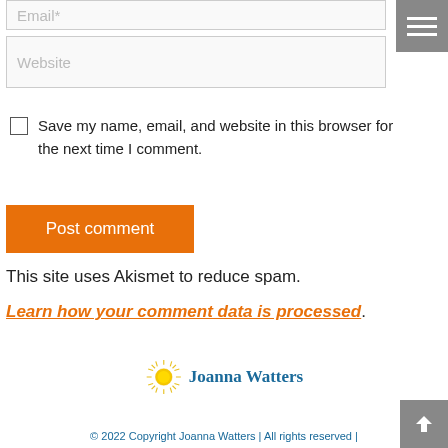Email*
Website
Save my name, email, and website in this browser for the next time I comment.
Post comment
This site uses Akismet to reduce spam.
Learn how your comment data is processed.
[Figure (logo): Joanna Watters sun logo with text]
© 2022 Copyright Joanna Watters | All rights reserved |